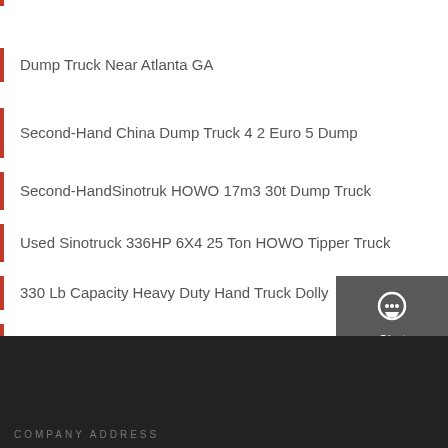Dump Truck Near Atlanta GA
Second-Hand China Dump Truck 4 2 Euro 5 Dump
Second-HandSinotruk HOWO 17m3 30t Dump Truck
Used Sinotruck 336HP 6X4 25 Ton HOWO Tipper Truck
330 Lb Capacity Heavy Duty Hand Truck Dolly
Used HOWO A7 10-Wheeler 40tons Dump Truck 30tons
[Figure (infographic): Sidebar panel with Chat, Email, Contact buttons with icons on dark grey background]
COMPANY ADDRESS